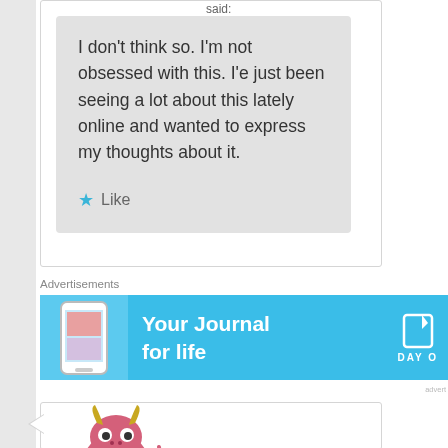said:
I don't think so. I'm not obsessed with this. I'e just been seeing a lot about this lately online and wanted to express my thoughts about it.
★ Like
Advertisements
[Figure (screenshot): Advertisement banner for Day One journal app with blue background, phone image, and text 'Your Journal for life']
[Figure (illustration): Pink cartoon monster character with horns at bottom of page]